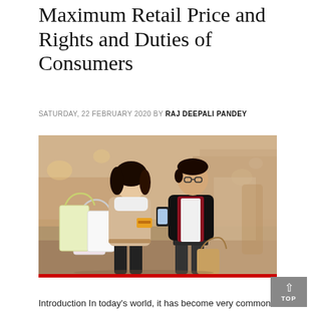Maximum Retail Price and Rights and Duties of Consumers
SATURDAY, 22 FEBRUARY 2020 BY RAJ DEEPALI PANDEY
[Figure (photo): A couple walking and smiling at each other. The woman carries multiple shopping bags and a credit card. The man holds a smartphone and a shopping bag. They are on a city shopping street with blurred storefront background.]
Introduction In today's world, it has become very common